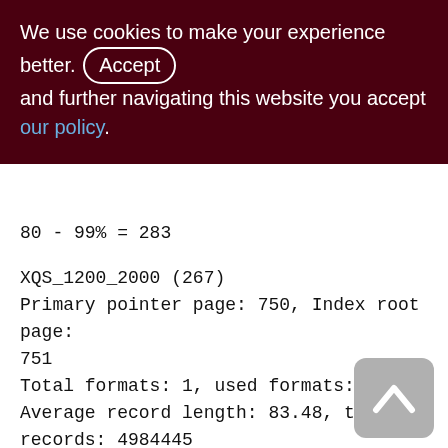We use cookies to make your experience better. By accepting and further navigating this website you accept our policy.
80 - 99% = 283
XQS_1200_2000 (267)
Primary pointer page: 750, Index root page: 751
Total formats: 1, used formats: 1
Average record length: 83.48, total records: 4984445
Average version length: 85.45, total versions: 19929, max versions: 1
Average fragment length: 0.00, total fragments: 0, max fragments: 0
Average unpacked length: 136.00,